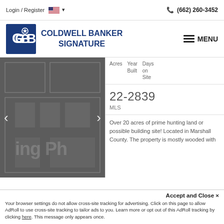Login / Register  🇺🇸 ▾  (662) 260-3452
[Figure (logo): Coldwell Banker Signature logo with CB monogram in dark blue square]
COLDWELL BANKER SIGNATURE
≡ MENU
[Figure (photo): Dark grey architectural/building plan photo with navigation arrows]
Acres  Year Built  Days on Site
22-2839
MLS
Over 20 acres of prime hunting land or possible building site! Located in Marshall County. The property is mostly wooded with
Accept and Close ✕
Your browser settings do not allow cross-site tracking for advertising. Click on this page to allow AdRoll to use cross-site tracking to tailor ads to you. Learn more or opt out of this AdRoll tracking by clicking here. This message only appears once.